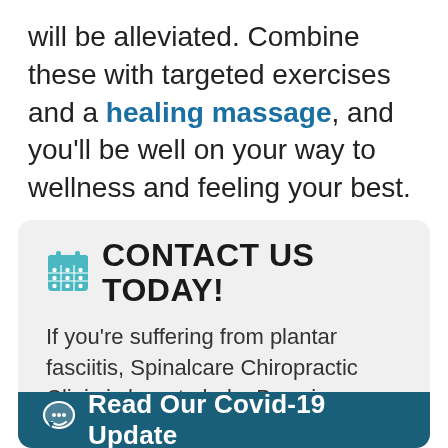will be alleviated. Combine these with targeted exercises and a healing massage, and you'll be well on your way to wellness and feeling your best.
CONTACT US TODAY!
If you're suffering from plantar fasciitis, Spinalcare Chiropractic Clinic is here to help. By using a whole-body approach, we'll work with you to create a chiropractic treatment plan tailored to your specific needs, including pain relief, and get you back on your feet in no time. For more information about
Read Our Covid-19 Update